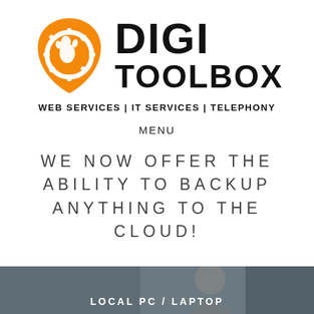[Figure (logo): DigiToolbox logo: orange shield with white gear and footprint icon, beside bold text DIGI on top and TOOLBOX below]
WEB SERVICES | IT SERVICES | TELEPHONY
MENU
WE NOW OFFER THE ABILITY TO BACKUP ANYTHING TO THE CLOUD!
[Figure (photo): Dark photo banner at bottom showing a person, with text LOCAL PC / LAPTOP overlaid in white uppercase letters]